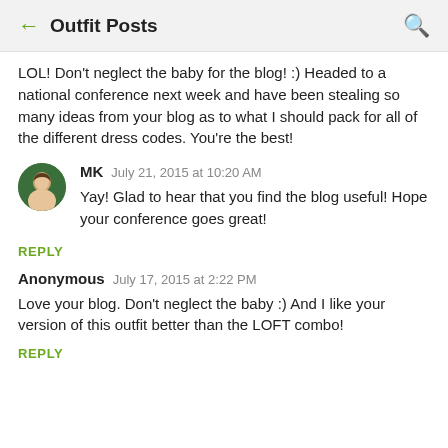Outfit Posts
LOL! Don't neglect the baby for the blog! :) Headed to a national conference next week and have been stealing so many ideas from your blog as to what I should pack for all of the different dress codes. You're the best!
MK  July 21, 2015 at 10:20 AM
Yay! Glad to hear that you find the blog useful! Hope your conference goes great!
REPLY
Anonymous  July 17, 2015 at 2:22 PM
Love your blog. Don't neglect the baby :) And I like your version of this outfit better than the LOFT combo!
REPLY